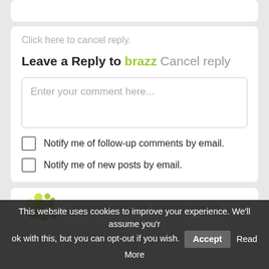Click here to cancel reply.
Leave a Reply to brazz Cancel reply
Enter your comment here...
Notify me of follow-up comments by email.
Notify me of new posts by email.
© NovaFusion 2014. All rights reserved.
This website uses cookies to improve your experience. We'll assume you're ok with this, but you can opt-out if you wish. Accept Read More